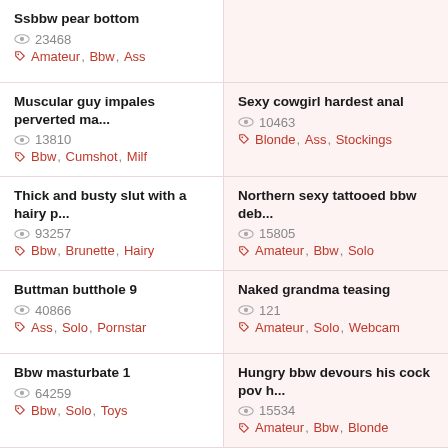Ssbbw pear bottom | 23468 views | Amateur, Bbw, Ass
(empty card top right)
Muscular guy impales perverted ma... | 13810 views | Bbw, Cumshot, Milf
Sexy cowgirl hardest anal | 10463 views | Blonde, Ass, Stockings
Thick and busty slut with a hairy p... | 93257 views | Bbw, Brunette, Hairy
Northern sexy tattooed bbw deb... | 15805 views | Amateur, Bbw, Solo
Buttman butthole 9 | 40866 views | Ass, Solo, Pornstar
Naked grandma teasing | 121 views | Amateur, Solo, Webcam
Bbw masturbate 1 | 64259 views | Bbw, Solo, Toys
Hungry bbw devours his cock pov h... | 15534 views | Amateur, Bbw, Blonde
Jerf off to my pantyhosed ass | 32458 views
Teens gothics girls lesbian | 76585 views